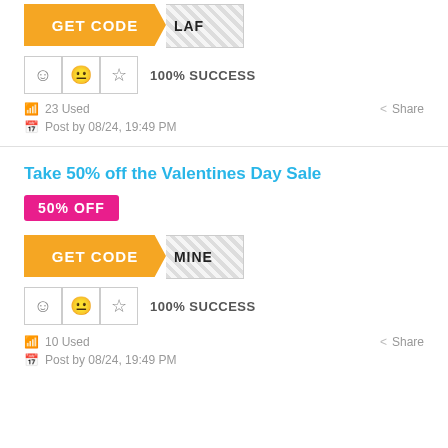[Figure (screenshot): GET CODE button with hatched code reveal area showing 'LAF']
[Figure (infographic): Rating row with smiley, neutral, star icons and 100% SUCCESS text]
23 Used
Share
Post by 08/24, 19:49 PM
Take 50% off the Valentines Day Sale
50% OFF
[Figure (screenshot): GET CODE button with hatched code reveal area showing 'MINE']
[Figure (infographic): Rating row with smiley, neutral, star icons and 100% SUCCESS text]
10 Used
Share
Post by 08/24, 19:49 PM